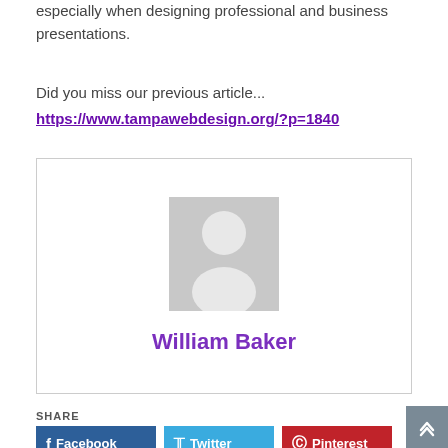especially when designing professional and business presentations.
Did you miss our previous article...
https://www.tampawebdesign.org/?p=1840
[Figure (illustration): Author profile card with a grey placeholder avatar silhouette and the name William Baker in purple below it, inside a bordered box.]
William Baker
SHARE
Facebook
Twitter
Pinterest